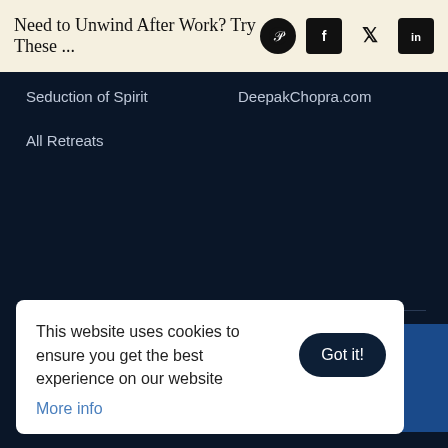Need to Unwind After Work? Try These ...
Seduction of Spirit
DeepakChopra.com
All Retreats
COPYRIGHT 2022 CHOPRA
TERMS OF USE
PRIVACY POLICY
CONTACT US
This website uses cookies to ensure you get the best experience on our website
More info